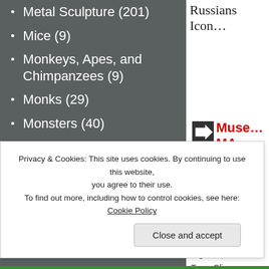Metal Sculpture (201)
Mice (9)
Monkeys, Apes, and Chimpanzees (9)
Monks (29)
Monsters (40)
Monuments (145)
Moose (14)
Mountain Lions (6)
Mummies (5)
Museums (60)
Russians Icon…
Muse… MA
Posted: N…
Figures,…
Tags: Cli…
[Figure (photo): Partial photograph visible in bottom-right of right panel]
Privacy & Cookies: This site uses cookies. By continuing to use this website, you agree to their use.
To find out more, including how to control cookies, see here: Cookie Policy
Close and accept